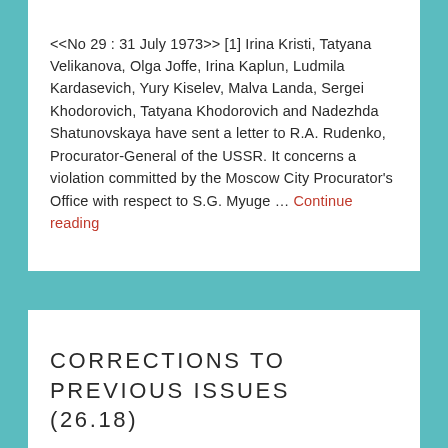<<No 29 : 31 July 1973>> [1] Irina Kristi, Tatyana Velikanova, Olga Joffe, Irina Kaplun, Ludmila Kardasevich, Yury Kiselev, Malva Landa, Sergei Khodorovich, Tatyana Khodorovich and Nadezhda Shatunovskaya have sent a letter to R.A. Rudenko, Procurator-General of the USSR. It concerns a violation committed by the Moscow City Procurator's Office with respect to S.G. Myuge … Continue reading
CORRECTIONS TO PREVIOUS ISSUES (26.18)